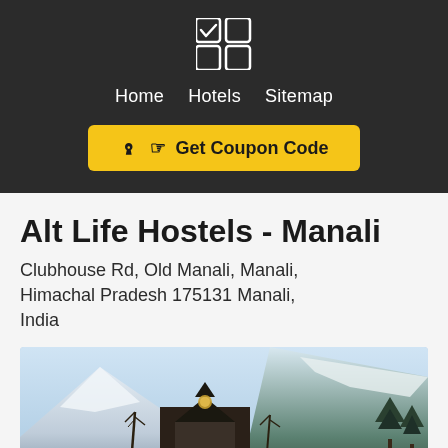Home  Hotels  Sitemap
☑ Get Coupon Code
Alt Life Hostels - Manali
Clubhouse Rd, Old Manali, Manali, Himachal Pradesh 175131 Manali, India
[Figure (photo): Exterior photo of Alt Life Hostels in Manali showing a building with a clock tower against snow-covered mountain backdrop with bare trees in winter]